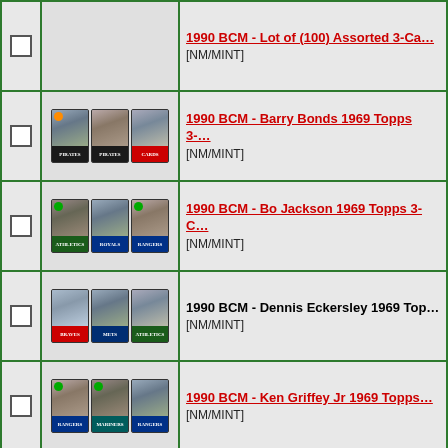1990 BCM - Lot of (100) Assorted 3-Card [NM/MINT]
1990 BCM - Barry Bonds 1969 Topps 3-Card [NM/MINT]
1990 BCM - Bo Jackson 1969 Topps 3-Card [NM/MINT]
1990 BCM - Dennis Eckersley 1969 Topps 3-Card [NM/MINT]
1990 BCM - Ken Griffey Jr 1969 Topps 3-Card [NM/MINT]
1990 BCM - Nolan Ryan 1969 Topps 3-Card [NM/MINT]
1990 BCM - Ryne Sandberg 1969 Topps 3-Card [NM/MINT]
1990 Ballstreet -------------------